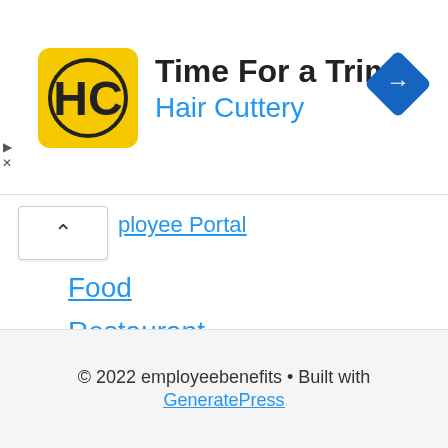[Figure (infographic): Hair Cuttery advertisement banner with yellow HC logo, text 'Time For a Trim?' and 'Hair Cuttery' in blue, and a blue navigation arrow icon on the right]
ployee Portal
Food
Restaurant
Store
Supermarket
Survey
Uncategorized
© 2022 employeebenefits • Built with GeneratePress